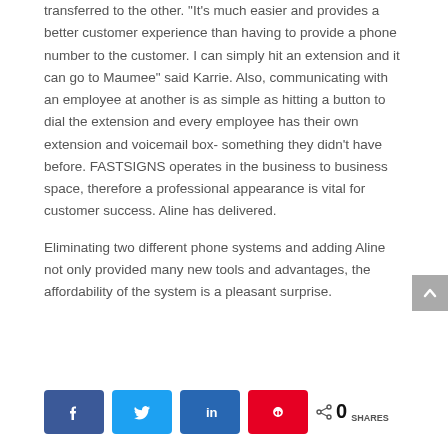transferred to the other. “It’s much easier and provides a better customer experience than having to provide a phone number to the customer. I can simply hit an extension and it can go to Maumee” said Karrie. Also, communicating with an employee at another is as simple as hitting a button to dial the extension and every employee has their own extension and voicemail box- something they didn’t have before. FASTSIGNS operates in the business to business space, therefore a professional appearance is vital for customer success. Aline has delivered.
Eliminating two different phone systems and adding Aline not only provided many new tools and advantages, the affordability of the system is a pleasant surprise.